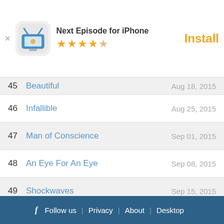[Figure (screenshot): App install banner for 'Next Episode for iPhone' with icon, 4.5 star rating, and orange Install button]
45   Beautiful   Aug 18, 2015
46   Infallible   Aug 25, 2015
47   Man of Conscience   Sep 01, 2015
48   An Eye For An Eye   Sep 08, 2015
49   Shockwaves   Sep 15, 2015
50   At First I Was Afraid   Sep 22, 2015
51   Cover Story   Sep 29, 2015
52   Ever After   Oct 06, 2015
f  Follow us  |  Privacy  |  About  |  Desktop